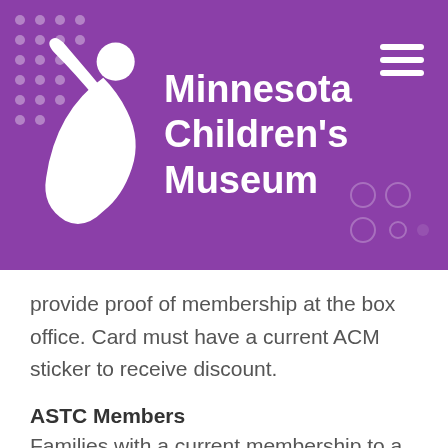[Figure (logo): Minnesota Children's Museum header with white figure logo on purple background and hamburger menu icon]
provide proof of membership at the box office. Card must have a current ACM sticker to receive discount.
ASTC Members
Families with a current membership to a ASTC reciprocal museum can receive up to 6 free tickets. If Minnesota Children's Museum is located within 90 miles of the visitor's home residence or the reciprocal ASTC museum, the